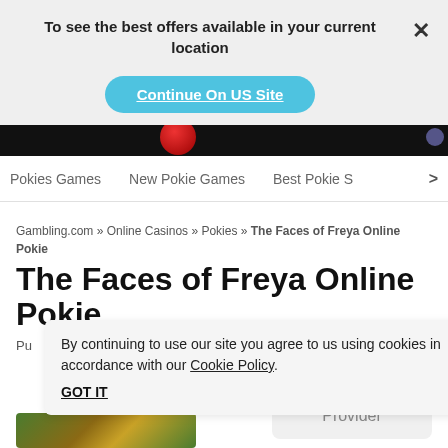To see the best offers available in your current location
Continue On US Site
Pokies Games   New Pokie Games   Best Pokie S >
Gambling.com » Online Casinos » Pokies » The Faces of Freya Online Pokie
The Faces of Freya Online Pokie
By continuing to use our site you agree to us using cookies in accordance with our Cookie Policy.
GOT IT
Provider